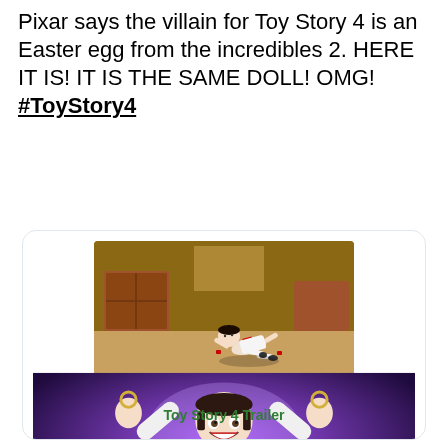Pixar says the villain for Toy Story 4 is an Easter egg from the incredibles 2. HERE IT IS! IT IS THE SAME DOLL! OMG! #ToyStory4
[Figure (photo): Card with two animated movie screenshots. Top image shows a doll from The Incredibles 2 lying on the floor. Bottom image shows Forky/villain doll from Toy Story 4 with arms raised against a purple background. Below images is the text 'Toy Story 4 Trailer' in green bold font.]